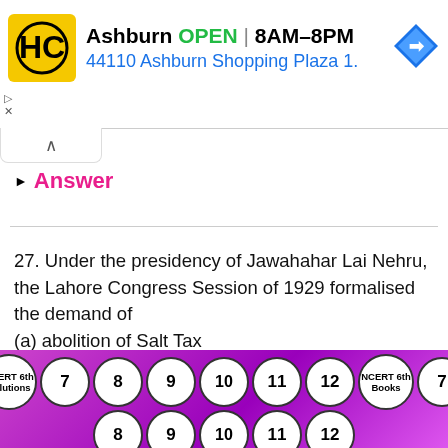[Figure (screenshot): Advertisement banner for HC (hardware/home store) in Ashburn showing OPEN 8AM-8PM and address 44110 Ashburn Shopping Plaza 1., with logo and navigation arrow icon]
▶ Answer
27. Under the presidency of Jawahahar Lai Nehru, the Lahore Congress Session of 1929 formalised the demand of
(a) abolition of Salt Tax
(b) 'Puma Swaraj' or complete independence
(c) boycott of Simon Commission
[Figure (infographic): Footer navigation bar with circular bubbles showing NCERT 6th Solutions, numbers 7-12, NCERT 6th Books, and numbers 7-12 on a purple/magenta gradient background]